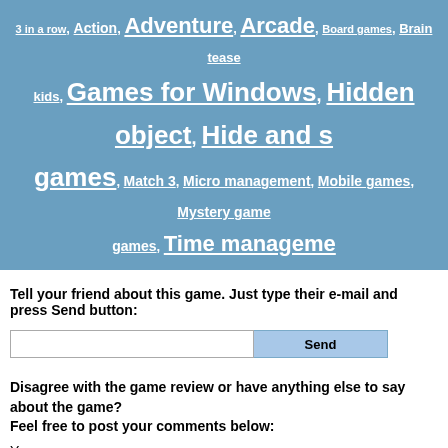3 in a row, Action, Adventure, Arcade, Board games, Brain teasers, kids, Games for Windows, Hidden object, Hide and seek games, Match 3, Micro management, Mobile games, Mystery games, games, Time management
Tell your friend about this game. Just type their e-mail and press Send button:
Disagree with the game review or have anything else to say about the game? Feel free to post your comments below:
Your name:
E-mail:
Comment body: